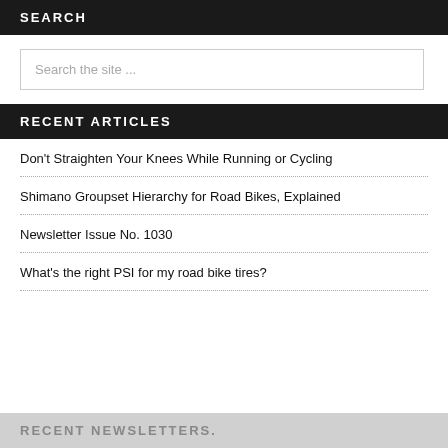SEARCH
Search the site ...
RECENT ARTICLES
Don't Straighten Your Knees While Running or Cycling
Shimano Groupset Hierarchy for Road Bikes, Explained
Newsletter Issue No. 1030
What's the right PSI for my road bike tires?
RECENT NEWSLETTERS.